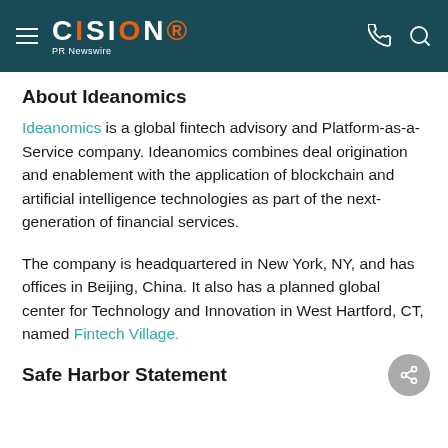CISION PR Newswire
About Ideanomics
Ideanomics is a global fintech advisory and Platform-as-a-Service company. Ideanomics combines deal origination and enablement with the application of blockchain and artificial intelligence technologies as part of the next-generation of financial services.
The company is headquartered in New York, NY, and has offices in Beijing, China. It also has a planned global center for Technology and Innovation in West Hartford, CT, named Fintech Village.
Safe Harbor Statement